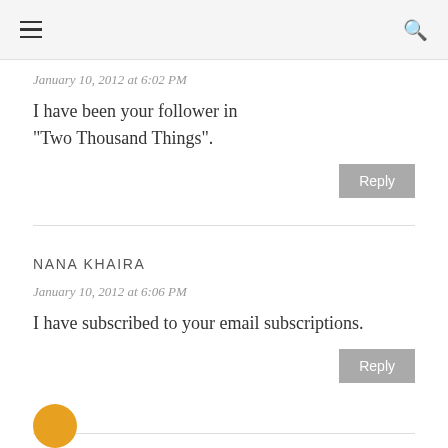☰  🔍
January 10, 2012 at 6:02 PM
I have been your follower in "Two Thousand Things".
NANA KHAIRA
January 10, 2012 at 6:06 PM
I have subscribed to your email subscriptions.